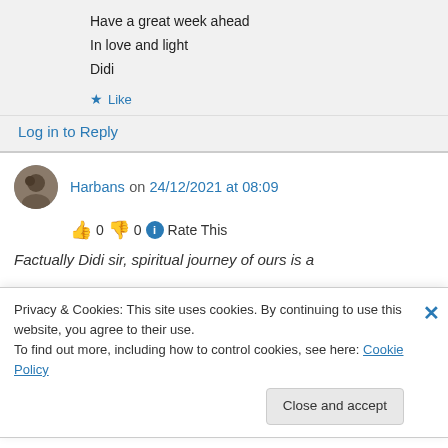Have a great week ahead
In love and light
Didi
★ Like
Log in to Reply
Harbans on 24/12/2021 at 08:09
👍 0 👎 0 ℹ Rate This
Factually Didi sir, spiritual journey of ours is a
Privacy & Cookies: This site uses cookies. By continuing to use this website, you agree to their use.
To find out more, including how to control cookies, see here: Cookie Policy
Close and accept